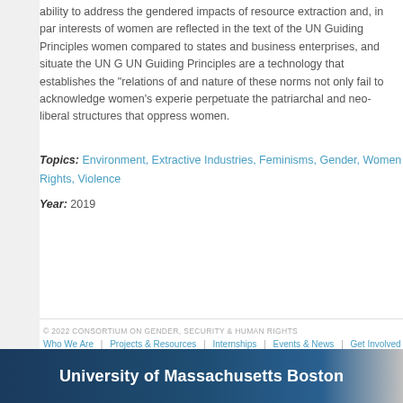ability to address the gendered impacts of resource extraction and, in particular, that the interests of women are reflected in the text of the UN Guiding Principles compared to states and business enterprises, and situate the UN Guiding Principles are a technology that establishes the "relations of" and nature of these norms not only fail to acknowledge women's experience, perpetuate the patriarchal and neo-liberal structures that oppress women.
Topics: Environment, Extractive Industries, Feminisms, Gender, Women Rights, Violence
Year: 2019
© 2022 CONSORTIUM ON GENDER, SECURITY & HUMAN RIGHTS
Who We Are | Projects & Resources | Internships | Events & News | Get Involved
University of Massachusetts Boston